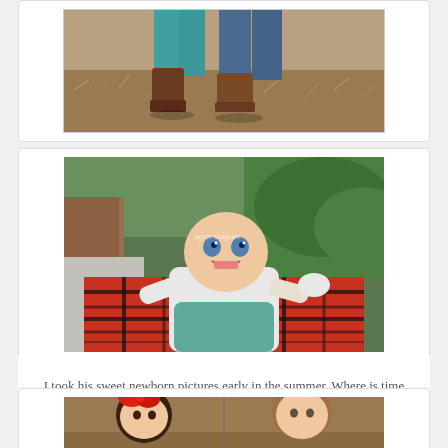[Figure (photo): Bottom portion of two people standing outdoors wearing boots on dry grass/ground — partial image (legs only visible)]
[Figure (photo): Smiling baby lying on red plaid blanket outdoors, wearing a teal dress and white long-sleeve shirt. Background shows wooden structure and green foliage. Watermark reads 'agen soignet'.]
I took his sweet newborn pictures early in the summer. Where is time going?!
[Figure (photo): Partial image of two children — left side shows a girl with a red bow in her hair, right side shows a boy, outdoors on dirt ground.]